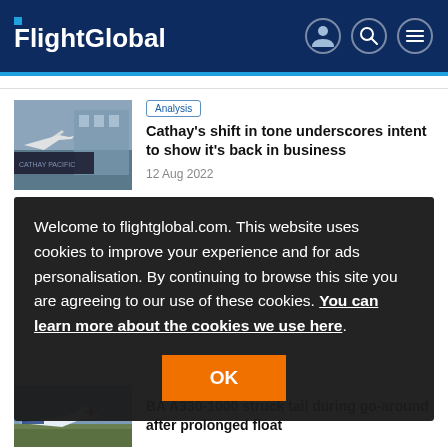FlightGlobal
Analysis
Cathay's shift in tone underscores intent to show it's back in business
12 Aug 2022
Welcome to flightglobal.com. This website uses cookies to improve your experience and for ads personalisation. By continuing to browse this site you are agreeing to our use of these cookies. You can learn more about the cookies we use here.
OK
BA A330-1000 struck tail during go-around after prolonged float